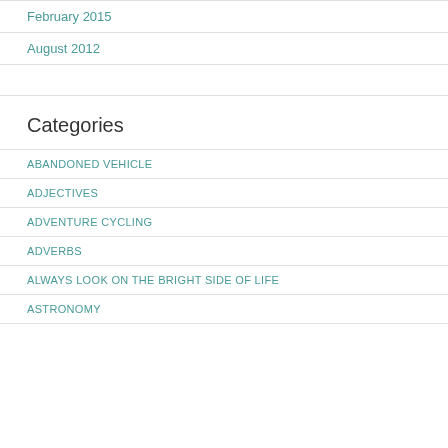February 2015
August 2012
Categories
ABANDONED VEHICLE
ADJECTIVES
ADVENTURE CYCLING
ADVERBS
ALWAYS LOOK ON THE BRIGHT SIDE OF LIFE
ASTRONOMY